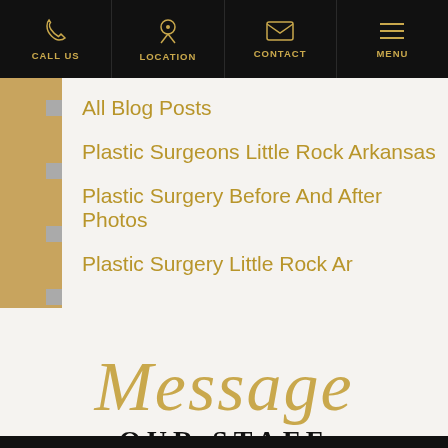CALL US | LOCATION | CONTACT | MENU
All Blog Posts
Plastic Surgeons Little Rock Arkansas
Plastic Surgery Before And After Photos
Plastic Surgery Little Rock Ar
[Figure (illustration): Decorative script text reading 'Message' in gold italic font above 'OUR STAFF' in bold black serif capitals — a stylized call-to-action graphic for a medical practice website.]